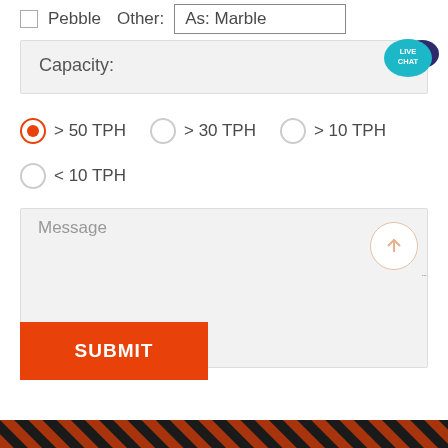Pebble  Other: As: Marble
Capacity:
> 50 TPH (selected)
> 30 TPH
> 10 TPH
< 10 TPH
Message
SUBMIT